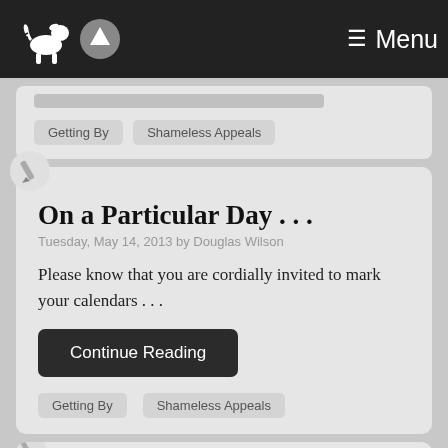Menu
Getting By
Shameless Appeals
On a Particular Day . . .
Tuesday, May 14, 2013 by Douglas Wilson
Please know that you are cordially invited to mark your calendars . . .
Continue Reading
Getting By
Shameless Appeals